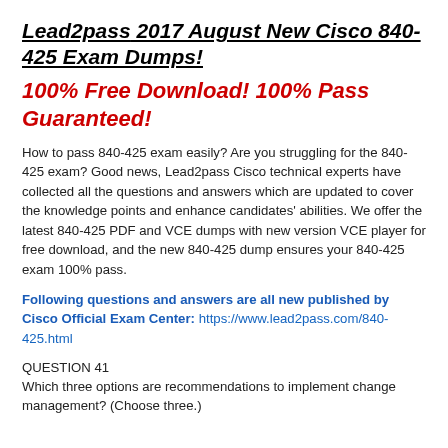Lead2pass 2017 August New Cisco 840-425 Exam Dumps!
100% Free Download! 100% Pass Guaranteed!
How to pass 840-425 exam easily? Are you struggling for the 840-425 exam? Good news, Lead2pass Cisco technical experts have collected all the questions and answers which are updated to cover the knowledge points and enhance candidates' abilities. We offer the latest 840-425 PDF and VCE dumps with new version VCE player for free download, and the new 840-425 dump ensures your 840-425 exam 100% pass.
Following questions and answers are all new published by Cisco Official Exam Center: https://www.lead2pass.com/840-425.html
QUESTION 41
Which three options are recommendations to implement change management? (Choose three.)